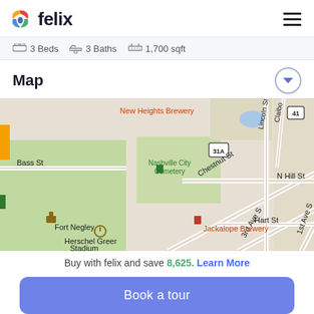felix
3 Beds  3 Baths  1,700 sqft
Map
[Figure (map): Street map of Nashville area showing Fort Negley, Nashville City Cemetery, Herschel Greer Stadium, Jackalope Brewery, New Heights Brewery, and surrounding streets including Bass St, Chestnut St, N Hill St, Hart St, 1st Ave S, 3rd Ave S, Lincoln St, with route markers 31A and 41.]
Buy with felix and save 8,625. Learn More
Book a tour